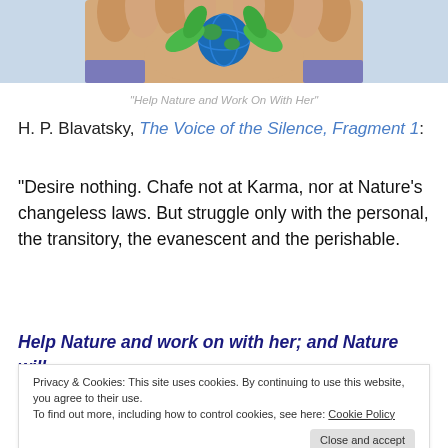[Figure (photo): Hands holding a small decorative globe surrounded by green leaves, representing environmental care.]
“Help Nature and Work On With Her”
H. P. Blavatsky, The Voice of the Silence, Fragment 1:
“Desire nothing. Chafe not at Karma, nor at Nature’s changeless laws. But struggle only with the personal, the transitory, the evanescent and the perishable.
Help Nature and work on with her; and Nature will
Privacy & Cookies: This site uses cookies. By continuing to use this website, you agree to their use.
To find out more, including how to control cookies, see here: Cookie Policy